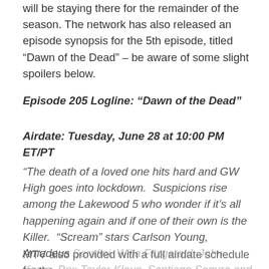will be staying there for the remainder of the season. The network has also released an episode synopsis for the 5th episode, titled “Dawn of the Dead” – be aware of some slight spoilers below.
Episode 205 Logline: “Dawn of the Dead”
Airdate: Tuesday, June 28 at 10:00 PM ET/PT
“The death of a loved one hits hard and GW High goes into lockdown.  Suspicions rise among the Lakewood 5 who wonder if it’s all happening again and if one of their own is the Killer.  “Scream” stars Carlson Young, Amadeus Serafini, Willa Fitzgerald, John Kama, Bex Taylor-Klaus, Santiago Segura and Kiana Lede.”
MTV also provided with a full airdate schedule for the